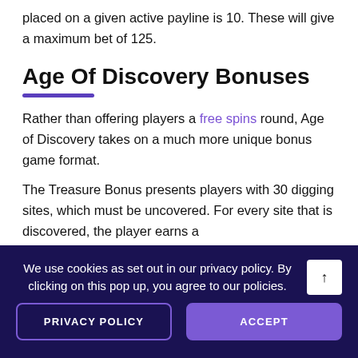placed on a given active payline is 10. These will give a maximum bet of 125.
Age Of Discovery Bonuses
Rather than offering players a free spins round, Age of Discovery takes on a much more unique bonus game format.
The Treasure Bonus presents players with 30 digging sites, which must be uncovered. For every site that is discovered, the player earns a
We use cookies as set out in our privacy policy. By clicking on this pop up, you agree to our policies.
PRIVACY POLICY
ACCEPT